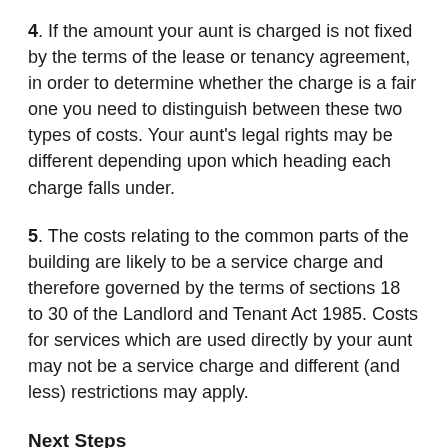4. If the amount your aunt is charged is not fixed by the terms of the lease or tenancy agreement, in order to determine whether the charge is a fair one you need to distinguish between these two types of costs. Your aunt's legal rights may be different depending upon which heading each charge falls under.
5. The costs relating to the common parts of the building are likely to be a service charge and therefore governed by the terms of sections 18 to 30 of the Landlord and Tenant Act 1985. Costs for services which are used directly by your aunt may not be a service charge and different (and less) restrictions may apply.
Next Steps
1. As you will be aware from the information given above, the question of whether of your aunt is paying too much is not a straightforward one to answer. Its depends on the